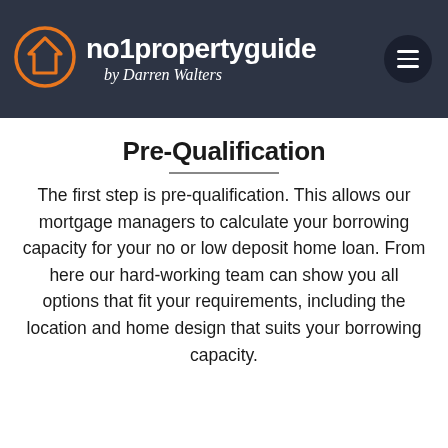no1propertyguide by Darren Walters
Pre-Qualification
The first step is pre-qualification. This allows our mortgage managers to calculate your borrowing capacity for your no or low deposit home loan. From here our hard-working team can show you all options that fit your requirements, including the location and home design that suits your borrowing capacity.